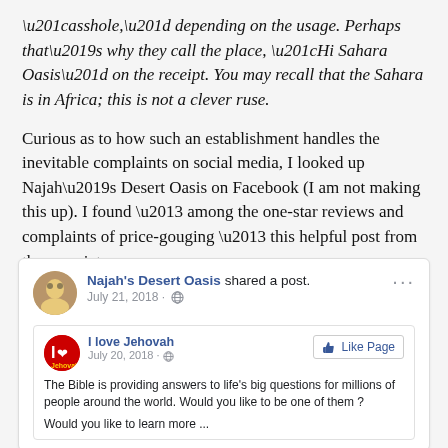“asshole,” depending on the usage. Perhaps that’s why they call the place, “Hi Sahara Oasis” on the receipt. You may recall that the Sahara is in Africa; this is not a clever ruse.
Curious as to how such an establishment handles the inevitable complaints on social media, I looked up Najah’s Desert Oasis on Facebook (I am not making this up). I found – among the one-star reviews and complaints of price-gouging – this helpful post from the proprietor:
[Figure (screenshot): A Facebook post screenshot. Najah's Desert Oasis shared a post on July 21, 2018. Inside is a shared post from 'I love Jehovah' dated July 20, 2018, with a Like Page button. The text reads: 'The Bible is providing answers to life’s big questions for millions of people around the world. Would you like to be one of them? Would you like to learn more ...']